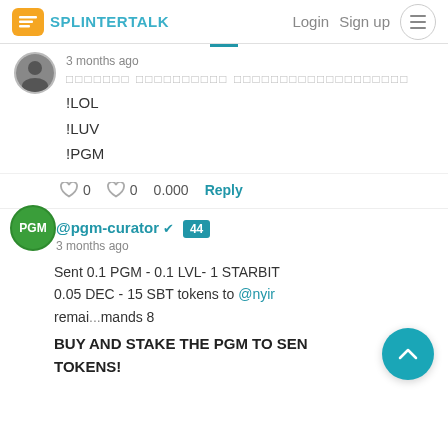SPLINTERTALK Login Sign up
3 months ago
ฅฅฅฅฅฅฅ ฅฅฅฅฅฅฅฅฅฅ ฅฅฅฅฅฅฅฅฅฅฅฅฅฅฅฅฅฅฅ
!LOL
!LUV
!PGM
0  0  0.000  Reply
@pgm-curator ✓ 44
3 months ago
Sent 0.1 PGM - 0.1 LVL- 1 STARBIT 0.05 DEC - 15 SBT tokens to @nyim
remai...mands 8
BUY AND STAKE THE PGM TO SEN TOKENS!